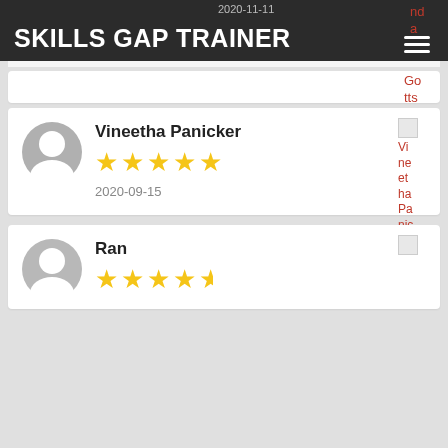SKILLS GAP TRAINER
2020-11-11
Vineetha Panicker
★★★★★
2020-09-15
Ran
★★★★½